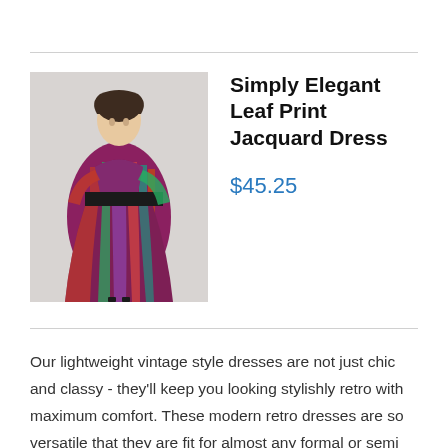[Figure (photo): Woman wearing a colorful leaf print jacquard dress in vintage style, photographed against a light gray background.]
Simply Elegant Leaf Print Jacquard Dress
$45.25
Our lightweight vintage style dresses are not just chic and classy - they'll keep you looking stylishly retro with maximum comfort. These modern retro dresses are so versatile that they are fit for almost any formal or semi formal occasion. That's budget friendly and practicality at its best as you'll not just wear it once. By sporting these uniquely designed